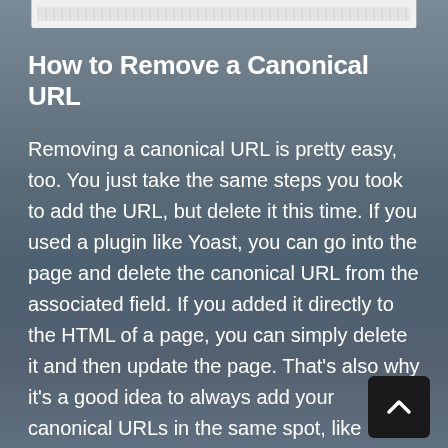[Figure (screenshot): A small screenshot/browser window thumbnail at the top of the page showing a webpage with URL bar and content]
How to Remove a Canonical URL
Removing a canonical URL is pretty easy, too. You just take the same steps you took to add the URL, but delete it this time. If you used a plugin like Yoast, you can go into the page and delete the canonical URL from the associated field. If you added it directly to the HTML of a page, you can simply delete it and then update the page. That’s also why it’s a good idea to always add your canonical URLs in the same spot, like directly above the closing head tag.